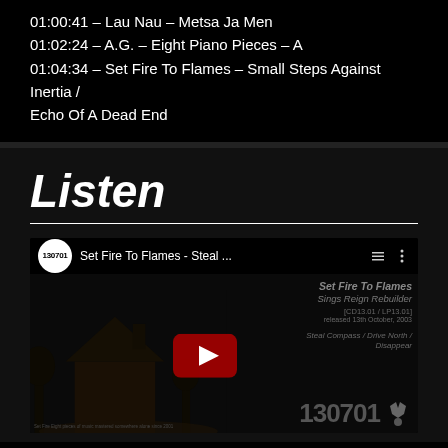01:00:41 – Lau Nau – Metsa Ja Men
01:02:24 – A.G. – Eight Piano Pieces – A
01:04:34 – Set Fire To Flames – Small Steps Against Inertia / Echo Of A Dead End
Listen
[Figure (screenshot): YouTube video thumbnail for 'Set Fire To Flames - Steal...' showing a dark album cover with house silhouette, red play button, and album info text including 'Set Fire To Flames Sings Reign Rebuilder', '[CD13.01 / LP13.01]', 'released 13th October, 2003', 'Steal Compass / Drive North / Disappear', and '130701' label logo]